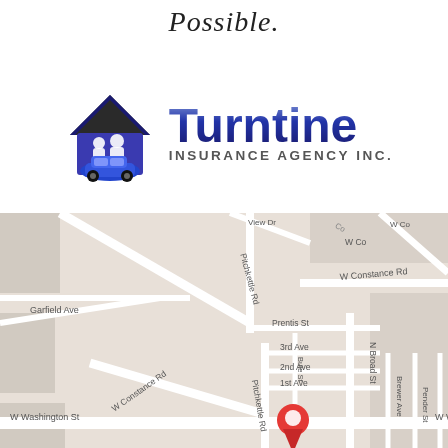Possible.
[Figure (logo): Turntine Insurance Agency Inc. logo with house, family silhouettes, and blue car icon]
[Figure (map): Google Maps showing W Washington St area with red location pin. Streets visible: Pitchkettle Rd, W Constance Rd, Garfield Ave, Prentis St, 3rd Ave, 2nd Ave, 1st Ave, N Broad St, Brewer Ave, Pender St, Pine St, W Washington St.]